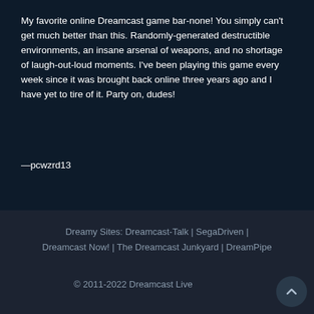My favorite online Dreamcast game bar-none! You simply can't get much better than this. Randomly-generated destructible environments, an insane arsenal of weapons, and no shortage of laugh-out-loud moments. I've been playing this game every week since it was brought back online three years ago and I have yet to tire of it. Party on, dudes!
—pcwzrd13
Dreamy Sites: Dreamcast-Talk | SegaDriven | Dreamcast Now! | The Dreamcast Junkyard | DreamPipe
© 2011-2022 Dreamcast Live